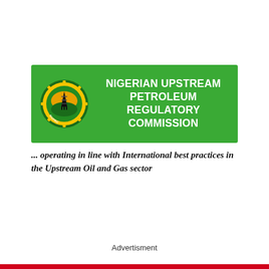[Figure (logo): Nigerian Upstream Petroleum Regulatory Commission banner with green background, circular emblem/seal on left, white bold text reading NIGERIAN UPSTREAM PETROLEUM REGULATORY COMMISSION]
... operating in line with International best practices in the Upstream Oil and Gas sector
Advertisment